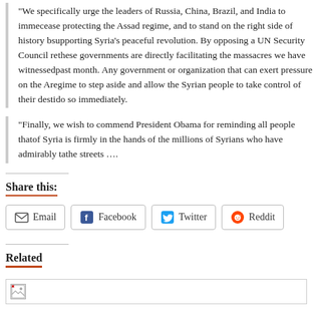“We specifically urge the leaders of Russia, China, Brazil, and India to immediately cease protecting the Assad regime, and to stand on the right side of history by supporting Syria’s peaceful revolution. By opposing a UN Security Council resolution, these governments are directly facilitating the massacres we have witnessed this past month. Any government or organization that can exert pressure on the Assad regime to step aside and allow the Syrian people to take control of their destiny must do so immediately.
“Finally, we wish to commend President Obama for reminding all people that the future of Syria is firmly in the hands of the millions of Syrians who have admirably taken to the streets ….
Share this:
Email | Facebook | Twitter | Reddit
Related
[Figure (other): A broken image placeholder in a bordered box under the Related section]